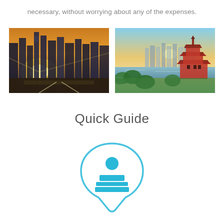necessary, without worrying about any of the expenses.
[Figure (photo): City skyline with modern skyscrapers and golden sunset light, dramatic urban scene]
[Figure (photo): Chinese city skyline with traditional pagoda temple in foreground, river and modern city in background, sunset]
Quick Guide
[Figure (illustration): Blue speech-bubble shaped icon containing a stamp/seal symbol — a round head above a rectangular stamp base with two horizontal bars, outlined in light blue]